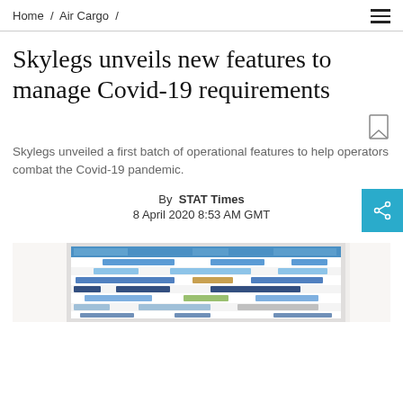Home / Air Cargo /
Skylegs unveils new features to manage Covid-19 requirements
Skylegs unveiled a first batch of operational features to help operators combat the Covid-19 pandemic.
By STAT Times
8 April 2020 8:53 AM GMT
[Figure (screenshot): Screenshot of Skylegs software interface showing a scheduling/planning grid with colored blocks on a computer monitor]